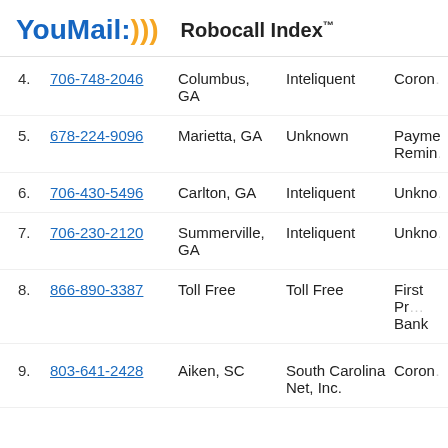YouMail:))) Robocall Index™
4. 706-748-2046 Columbus, GA Inteliquent Coron…
5. 678-224-9096 Marietta, GA Unknown Payment Remind…
6. 706-430-5496 Carlton, GA Inteliquent Unknow…
7. 706-230-2120 Summerville, GA Inteliquent Unknow…
8. 866-890-3387 Toll Free Toll Free First Pr… Bank
9. 803-641-2428 Aiken, SC South Carolina Net, Inc. Coron…